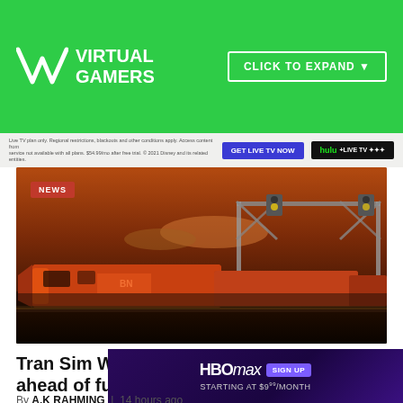VR VIRTUAL GAMERS
[Figure (screenshot): Advertisement banner with small text and two buttons: GET LIVE TV NOW and HULU + LIVE TV]
[Figure (photo): Hero image of a BNSF freight train at dusk/sunset with a signal gantry overhead. NEWS badge in top-left corner.]
Tran Sim World 3 chugs into Early Access ahead of full launch
By A.K RAHMING  14 hours ago
[Figure (screenshot): HBO Max advertisement: SIGN UP STARTING AT $9⁹⁹/MONTH with purple background and X close button]